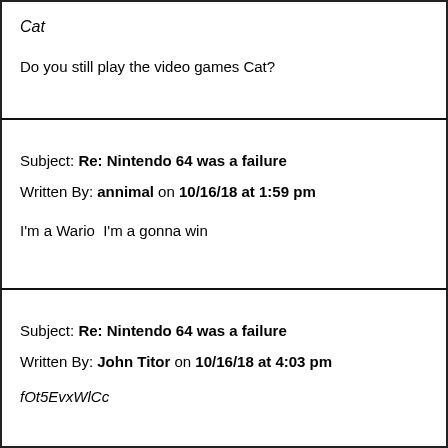Cat
Do you still play the video games Cat?
Subject: Re: Nintendo 64 was a failure
Written By: annimal on 10/16/18 at 1:59 pm
I'm a Wario  I'm a gonna win
Subject: Re: Nintendo 64 was a failure
Written By: John Titor on 10/16/18 at 4:03 pm
fOt5EvxWlCc